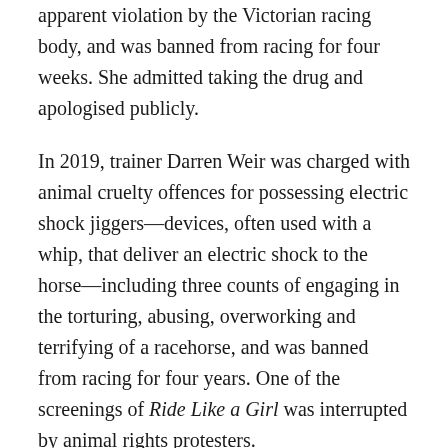apparent violation by the Victorian racing body, and was banned from racing for four weeks. She admitted taking the drug and apologised publicly.
In 2019, trainer Darren Weir was charged with animal cruelty offences for possessing electric shock jiggers—devices, often used with a whip, that deliver an electric shock to the horse—including three counts of engaging in the torturing, abusing, overworking and terrifying of a racehorse, and was banned from racing for four years. One of the screenings of Ride Like a Girl was interrupted by animal rights protesters.
Sandra Hall of the Sydney Morning Herald wrote that Ride Like a Girl "suffers from a pervasive wholesomeness … we may one day have a film that exposes the rough